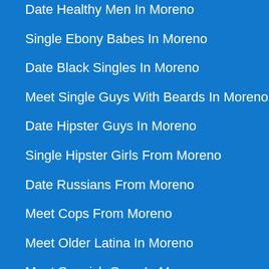Date Healthy Men In Moreno
Single Ebony Babes In Moreno
Date Black Singles In Moreno
Meet Single Guys With Beards In Moreno
Date Hipster Guys In Moreno
Single Hipster Girls From Moreno
Date Russians From Moreno
Meet Cops From Moreno
Meet Older Latina In Moreno
Meet Spanish Guys In Moreno
Meet Single Thai Girls From Moreno